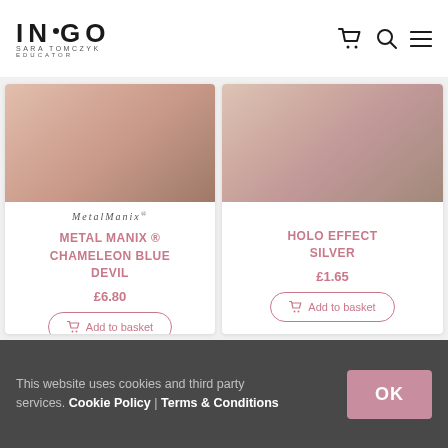INDIGO Sara Tomczyk Educator
[Figure (logo): Indigo Sara Tomczyk Educator logo with shopping cart, search, and menu icons]
[Figure (photo): Metal Manix nail product with skin/nail texture background and MetalManix brand logo]
METAL MANIX ® CHAMELEON BLUE DEVIL
£6.80
Add to basket
[Figure (photo): Holo Effect Silver nail product with skin/nail texture background]
HOLO EFFECT SILVER
£1.65
Add to basket
This website uses cookies and third party services. Cookie Policy | Terms & Conditions OK